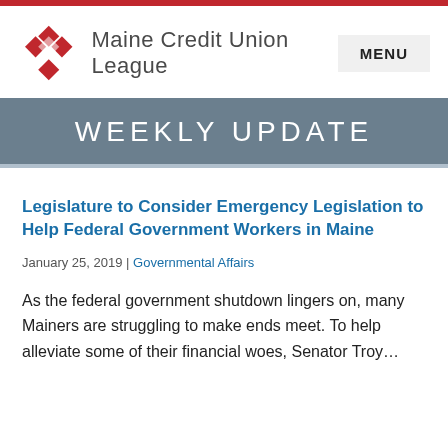[Figure (logo): Maine Credit Union League logo with red diamond/cross shape and text]
MENU
WEEKLY UPDATE
Legislature to Consider Emergency Legislation to Help Federal Government Workers in Maine
January 25, 2019 | Governmental Affairs
As the federal government shutdown lingers on, many Mainers are struggling to make ends meet. To help alleviate some of their financial woes, Senator Troy…